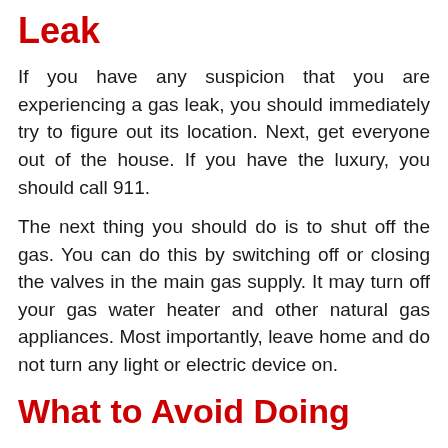Leak
If you have any suspicion that you are experiencing a gas leak, you should immediately try to figure out its location. Next, get everyone out of the house. If you have the luxury, you should call 911.
The next thing you should do is to shut off the gas. You can do this by switching off or closing the valves in the main gas supply. It may turn off your gas water heater and other natural gas appliances. Most importantly, leave home and do not turn any light or electric device on.
What to Avoid Doing